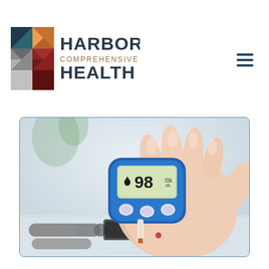[Figure (logo): Harbor Comprehensive Health logo with colorful geometric cross/plus symbol on the left and text 'HARBOR COMPREHENSIVE HEALTH' on the right]
[Figure (photo): Close-up photograph of a person's hands holding a blue blood glucose meter displaying a reading of 98 mg/dL, with a test strip inserted. Lancet device and other diabetes testing supplies visible on a white surface in the background.]